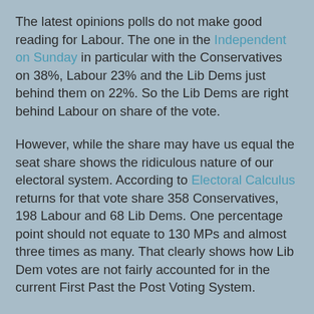The latest opinions polls do not make good reading for Labour. The one in the Independent on Sunday in particular with the Conservatives on 38%, Labour 23% and the Lib Dems just behind them on 22%. So the Lib Dems are right behind Labour on share of the vote.
However, while the share may have us equal the seat share shows the ridiculous nature of our electoral system. According to Electoral Calculus returns for that vote share 358 Conservatives, 198 Labour and 68 Lib Dems. One percentage point should not equate to 130 MPs and almost three times as many. That clearly shows how Lib Dem votes are not fairly accounted for in the current First Past the Post Voting System.
Just as a little experiment I decided to keep the Tories in 38% an swap share from Labour to the Lib Dems find out the level of parity. The result is that it only happens at Lib Dems 28% (120 seats) Labour 17% (118) a full 12% swing still required to get parity in seats from being right behind Labour in share of vote. It would apparently give the Tories a 108